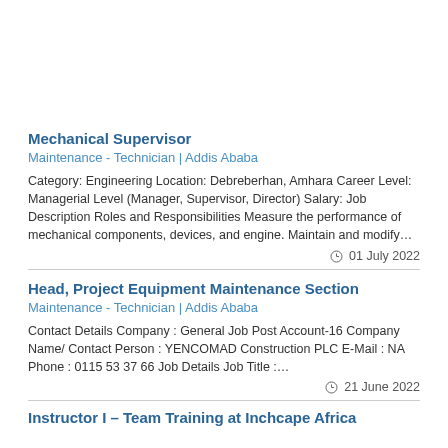Mechanical Supervisor
Maintenance - Technician | Addis Ababa
Category: Engineering Location: Debreberhan, Amhara Career Level: Managerial Level (Manager, Supervisor, Director) Salary: Job Description Roles and Responsibilities Measure the performance of mechanical components, devices, and engine. Maintain and modify…
01 July 2022
Head, Project Equipment Maintenance Section
Maintenance - Technician | Addis Ababa
Contact Details Company : General Job Post Account-16 Company Name/ Contact Person : YENCOMAD Construction PLC E-Mail : NA Phone : 0115 53 37 66 Job Details Job Title :…
21 June 2022
Instructor I – Team Training at Inchcape Africa